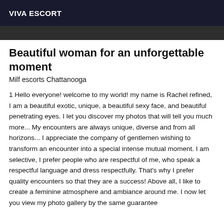VIVA ESCORT
[Figure (photo): Dark photo strip at top of page]
Beautiful woman for an unforgettable moment
Milf escorts Chattanooga
1 Hello everyone! welcome to my world! my name is Rachel refined, I am a beautiful exotic, unique, a beautiful sexy face, and beautiful penetrating eyes. I let you discover my photos that will tell you much more... My encounters are always unique, diverse and from all horizons... I appreciate the company of gentlemen wishing to transform an encounter into a special intense mutual moment. I am selective, I prefer people who are respectful of me, who speak a respectful language and dress respectfully. That's why I prefer quality encounters so that they are a success! Above all, I like to create a feminine atmosphere and ambiance around me. I now let you view my photo gallery by the same guarantee